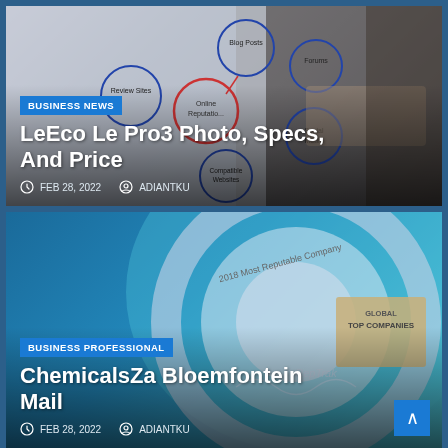[Figure (photo): Blog/online reputation diagram with hand holding pen drawing circles labeled Blog Posts, Review Sites, Forums, Online Reputation, Social Media, Compatible Websites]
BUSINESS NEWS
LeEco Le Pro3 Photo, Specs, And Price
FEB 28, 2022  ADIANTKU
[Figure (photo): 2018 Most Reputable Company Global Top Companies RepTrak award disc on blue background]
BUSINESS PROFESSIONAL
ChemicalsZa Bloemfontein Mail
FEB 28, 2022  ADIANTKU